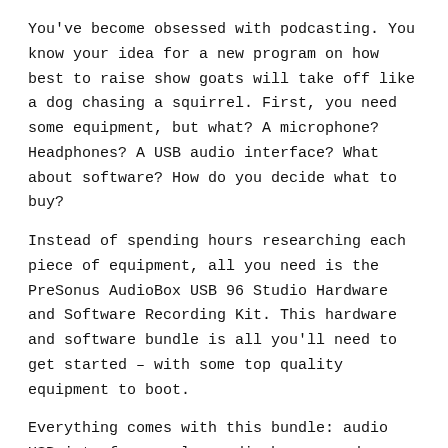You've become obsessed with podcasting. You know your idea for a new program on how best to raise show goats will take off like a dog chasing a squirrel. First, you need some equipment, but what? A microphone? Headphones? A USB audio interface? What about software? How do you decide what to buy?
Instead of spending hours researching each piece of equipment, all you need is the PreSonus AudioBox USB 96 Studio Hardware and Software Recording Kit. This hardware and software bundle is all you'll need to get started – with some top quality equipment to boot.
Everything comes with this bundle: audio USB interface, a large diaphragm condenser microphone, comfortable over-the-ear headphones, Studio One Artist Edition, Studio Magic plug-in suite and all the cables you'll need. PreSonus is good about that.
This bundle is perfect for beginning podcasters, budding music producers and artists sticking their toes into the digital recording water.